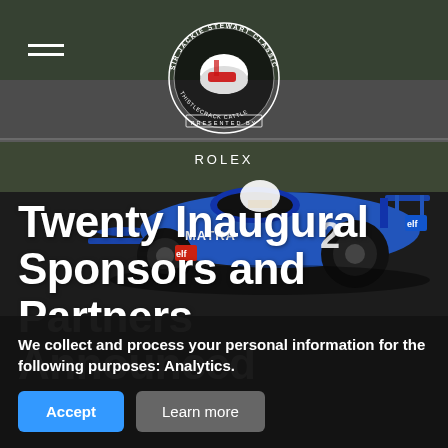[Figure (photo): Hero background showing a vintage Formula 1 blue Matra racing car on a circuit, with dark blurred background]
[Figure (logo): Sir Jackie Stewart Classic circular logo with racing helmet, presented by Rolex]
Twenty Inaugural Sponsors and Partners Announced
We collect and process your personal information for the following purposes: Analytics.
Accept
Learn more